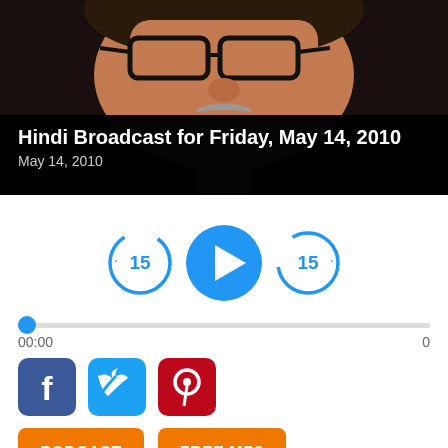[Figure (photo): Close-up photo of an elderly man wearing glasses, smiling, with dark background]
Hindi Broadcast for Friday, May 14, 2010
May 14, 2010
[Figure (infographic): Audio player controls: skip-back 15 seconds button, play button, skip-forward 15 seconds button, progress bar showing 00:00 / 0]
[Figure (infographic): Social share icons: Facebook, Twitter, Pinterest]
PODCAST
FREE MP3